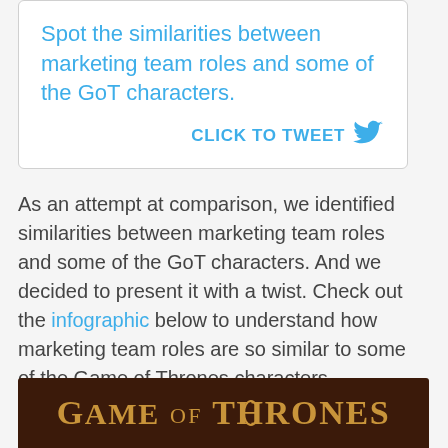Spot the similarities between marketing team roles and some of the GoT characters.
CLICK TO TWEET
As an attempt at comparison, we identified similarities between marketing team roles and some of the GoT characters. And we decided to present it with a twist. Check out the infographic below to understand how marketing team roles are so similar to some of the Game of Thrones characters.
[Figure (other): Game of Thrones banner/logo in dark brown background with golden serif text reading GAME of THRONES]